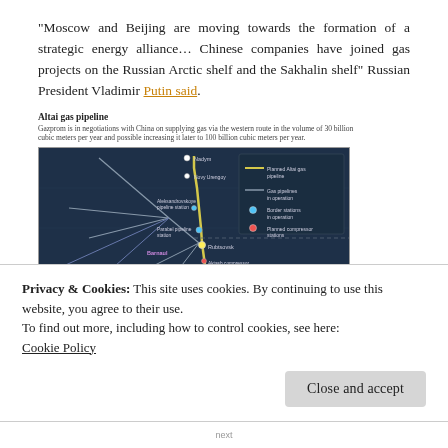“Moscow and Beijing are moving towards the formation of a strategic energy alliance… Chinese companies have joined gas projects on the Russian Arctic shelf and the Sakhalin shelf” Russian President Vladimir Putin said.
Altai gas pipeline
Gazprom is in negotiations with China on supplying gas via the western route in the volume of 30 billion cubic meters per year and possible increasing it later to 100 billion cubic meters per year.
[Figure (map): Map of the Altai gas pipeline route connecting Russia to China, showing planned/existing pipelines, border stations, and compressor stations on a dark blue background.]
Privacy & Cookies: This site uses cookies. By continuing to use this website, you agree to their use.
To find out more, including how to control cookies, see here: Cookie Policy